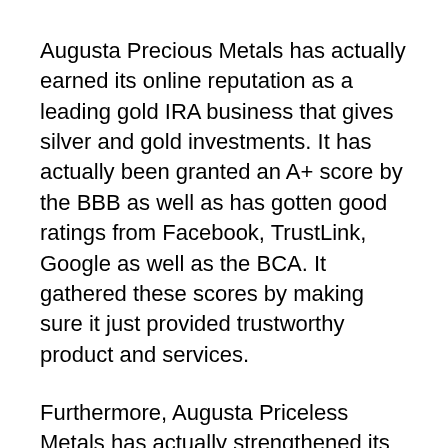Augusta Precious Metals has actually earned its online reputation as a leading gold IRA business that gives silver and gold investments. It has actually been granted an A+ score by the BBB as well as has gotten good ratings from Facebook, TrustLink, Google as well as the BCA. It gathered these scores by making sure it just provided trustworthy product and services.
Furthermore, Augusta Priceless Metals has actually strengthened its online reputation by supplying superior customer care. It runs in a clear way as well as offers a straightforward treatment to aid clients who wish to set up precious metal Individual retirement accounts. All its services are